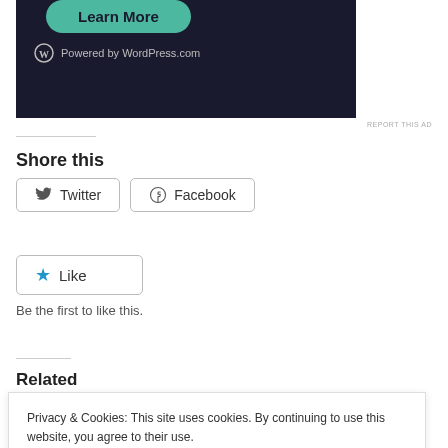[Figure (illustration): Dark-themed ad banner with green 'Learn More' rounded button and 'Powered by WordPress.com' text with WordPress logo]
REPORT THIS AD
Shore this
Twitter  Facebook (share buttons)
Like
Be the first to like this.
Related
Privacy & Cookies: This site uses cookies. By continuing to use this website, you agree to their use.
To find out more, including how to control cookies, see here: Cookie Policy
Close and accept